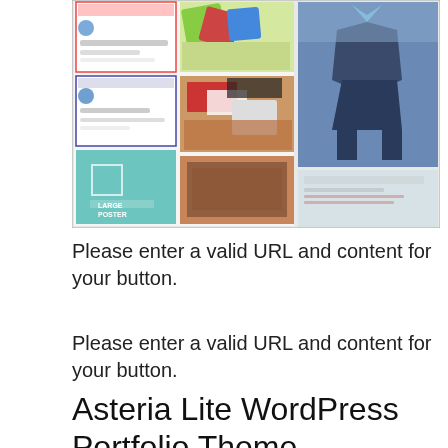[Figure (screenshot): Screenshot of a WordPress portfolio theme showing a grid of images including app mockups, branding materials, 3D character artwork, and website layout previews on a light background.]
Please enter a valid URL and content for your button.
Please enter a valid URL and content for your button.
Asteria Lite WordPress Portfolio Theme